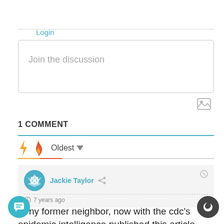Login
Join the discussion
1 COMMENT
Oldest
Jackie Taylor   7 years ago
my former neighbor, now with the cdc's epidemic intelligence published this article